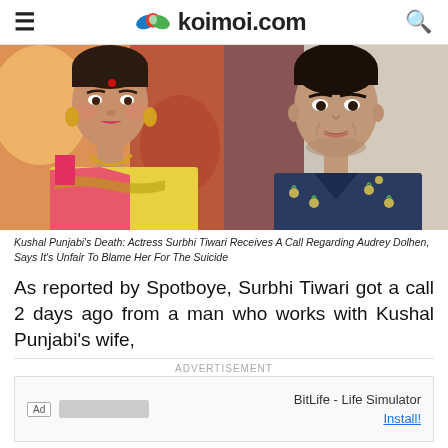koimoi.com
[Figure (photo): Two-panel image: left panel shows a woman in a yellow and pink saree with traditional jewelry and bindi; right panel shows a young man in a navy blue patterned shirt.]
Kushal Punjabi's Death: Actress Surbhi Tiwari Receives A Call Regarding Audrey Dolhen, Says It's Unfair To Blame Her For The Suicide
As reported by Spotboye, Surbhi Tiwari got a call 2 days ago from a man who works with Kushal Punjabi's wife,
ADVERTISEMENT
BitLife - Life Simulator
Install!